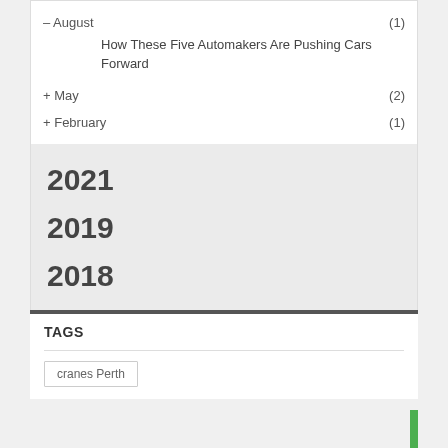– August (1)
How These Five Automakers Are Pushing Cars Forward
+ May (2)
+ February (1)
2021
2019
2018
TAGS
cranes Perth